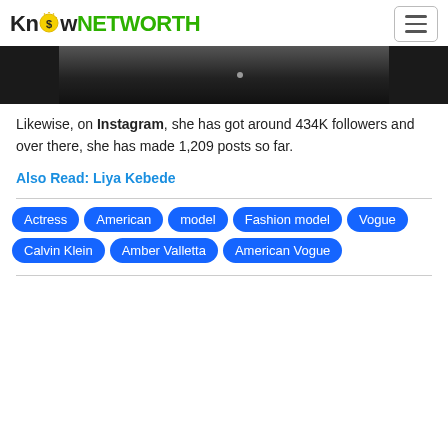KnowNETWORTH
[Figure (photo): Black and white photo strip showing partial view of a person in dark clothing]
Likewise, on Instagram, she has got around 434K followers and over there, she has made 1,209 posts so far.
Also Read: Liya Kebede
Actress  American  model  Fashion model  Vogue  Calvin Klein  Amber Valletta  American Vogue